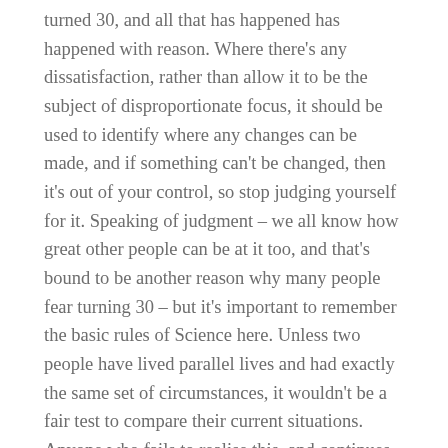turned 30, and all that has happened has happened with reason. Where there's any dissatisfaction, rather than allow it to be the subject of disproportionate focus, it should be used to identify where any changes can be made, and if something can't be changed, then it's out of your control, so stop judging yourself for it. Speaking of judgment – we all know how great other people can be at it too, and that's bound to be another reason why many people fear turning 30 – but it's important to remember the basic rules of Science here. Unless two people have lived parallel lives and had exactly the same set of circumstances, it wouldn't be a fair test to compare their current situations. Anyone who fails to realise this, and continues to judge others, is probably not the kind of person whose approval you'd want, anyway.
Those who extolled the virtues of the 30's in response to